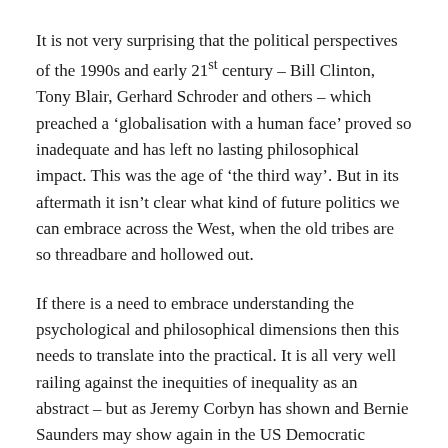It is not very surprising that the political perspectives of the 1990s and early 21st century – Bill Clinton, Tony Blair, Gerhard Schroder and others – which preached a 'globalisation with a human face' proved so inadequate and has left no lasting philosophical impact. This was the age of 'the third way'. But in its aftermath it isn't clear what kind of future politics we can embrace across the West, when the old tribes are so threadbare and hollowed out.
If there is a need to embrace understanding the psychological and philosophical dimensions then this needs to translate into the practical. It is all very well railing against the inequities of inequality as an abstract – but as Jeremy Corbyn has shown and Bernie Saunders may show again in the US Democratic